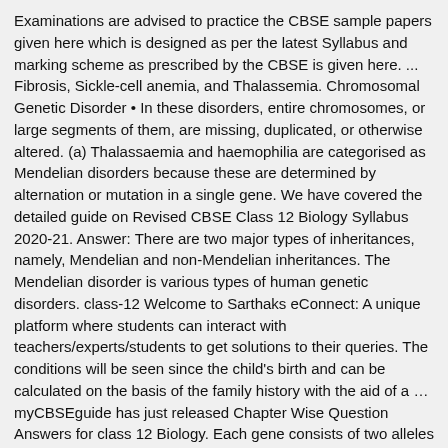Examinations are advised to practice the CBSE sample papers given here which is designed as per the latest Syllabus and marking scheme as prescribed by the CBSE is given here. ... Fibrosis, Sickle-cell anemia, and Thalassemia. Chromosomal Genetic Disorder • In these disorders, entire chromosomes, or large segments of them, are missing, duplicated, or otherwise altered. (a) Thalassaemia and haemophilia are categorised as Mendelian disorders because these are determined by alternation or mutation in a single gene. We have covered the detailed guide on Revised CBSE Class 12 Biology Syllabus 2020-21. Answer: There are two major types of inheritances, namely, Mendelian and non-Mendelian inheritances. The Mendelian disorder is various types of human genetic disorders. class-12 Welcome to Sarthaks eConnect: A unique platform where students can interact with teachers/experts/students to get solutions to their queries. The conditions will be seen since the child's birth and can be calculated on the basis of the family history with the aid of a … myCBSEguide has just released Chapter Wise Question Answers for class 12 Biology. Each gene consists of two alleles received from